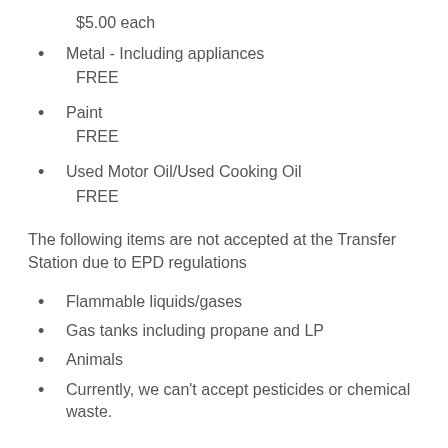$5.00 each
Metal - Including appliances
FREE
Paint
FREE
Used Motor Oil/Used Cooking Oil
FREE
The following items are not accepted at the Transfer Station due to EPD regulations
Flammable liquids/gases
Gas tanks including propane and LP
Animals
Currently, we can't accept pesticides or chemical waste.